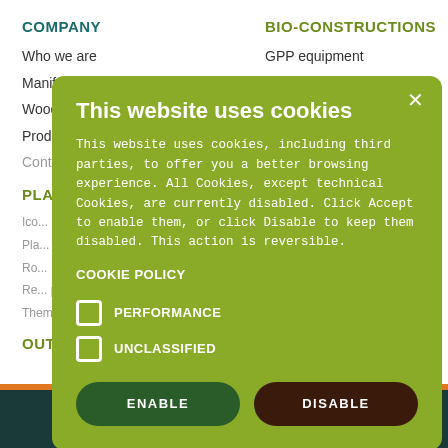COMPANY
Who we are
Manifest
Wood and Energy
Products
Contacts
PLAYGROUNDS
Rec...
Ico...
Pla...
Ro...
Re... projects
Thematic play areas
OUTDOOR FURNITURE
BIO-CONSTRUCTIONS
GPP equipment
GALLERY
Playgrounds pictures
Playgrounds projects
...RIGHTS
...es Legnolandia
...and safety
...tures CO2
Wood protection against rot
Wood in playgrounds
NEWS
[Figure (screenshot): Cookie consent modal with title 'This website uses cookies', body text explaining cookie usage, COOKIE POLICY link, checkboxes for PERFORMANCE and UNCLASSIFIED, and ENABLE/DISABLE buttons]
CHATTA CON NOI